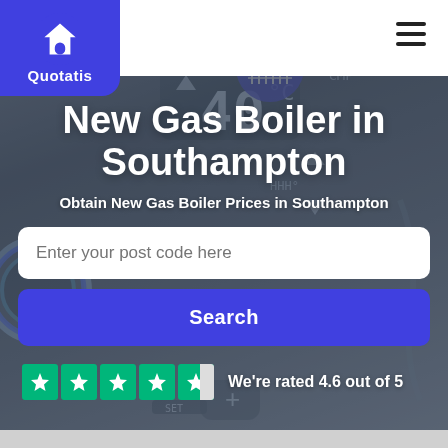[Figure (screenshot): Quotatis website hero section showing a boiler/thermostat background image with navigation bar, logo, search form, and Trustpilot rating]
Quotatis
New Gas Boiler in Southampton
Obtain New Gas Boiler Prices in Southampton
Enter your post code here
Search
We're rated 4.6 out of 5